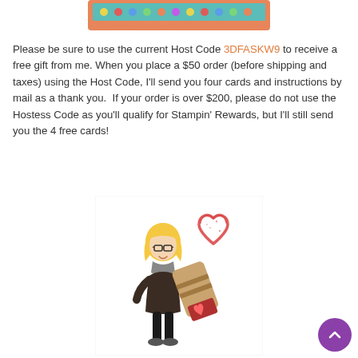[Figure (illustration): Colorful polka dot banner/header with orange border at top of page]
Please be sure to use the current Host Code 3DFASKW9 to receive a free gift from me. When you place a $50 order (before shipping and taxes) using the Host Code, I'll send you four cards and instructions by mail as a thank you.  If your order is over $200, please do not use the Hostess Code as you'll qualify for Stampin' Rewards, but I'll still send you the 4 free cards!
[Figure (illustration): Cartoon bitmoji of a blonde woman holding a large rubber stamp with a red heart, and a red hand-drawn heart stamp in the upper right corner]